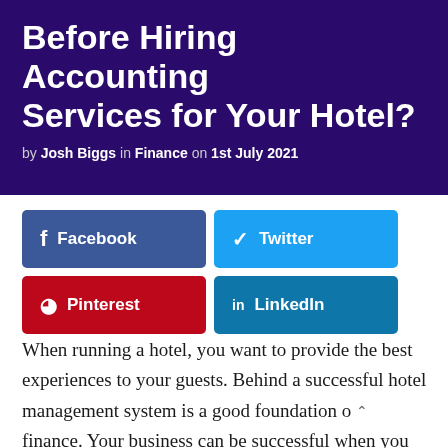Before Hiring Accounting Services for Your Hotel?
by Josh Biggs in Finance on 1st July 2021
[Figure (infographic): Social share buttons: Facebook, Twitter, Pinterest, LinkedIn]
When running a hotel, you want to provide the best experiences to your guests. Behind a successful hotel management system is a good foundation of finance. Your business can be successful when you